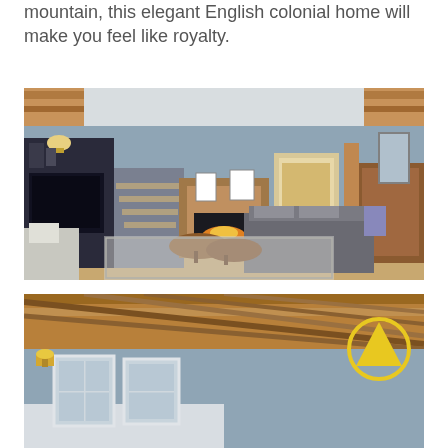mountain, this elegant English colonial home will make you feel like royalty.
[Figure (photo): Interior living room of an English colonial home with wood beam ceiling, blue-grey walls, wood-surround fireplace, dark entertainment unit with TV, grey sofa, wooden coffee table, and patterned area rug.]
[Figure (photo): Interior corner of a room with wood beam ceiling, blue-grey walls, white-framed windows, wall sconce light fixture, and a circular yellow arrow-up navigation button overlay in the upper right.]